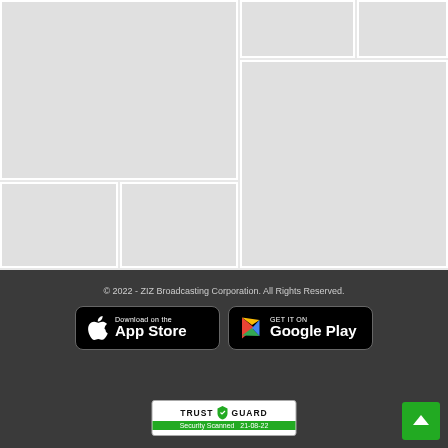[Figure (photo): Image grid placeholder with 6 light gray cells arranged in a mosaic layout]
© 2022 - ZIZ Broadcasting Corporation. All Rights Reserved.
[Figure (logo): Download on the App Store button]
[Figure (logo): Get it on Google Play button]
[Figure (logo): Trust Guard Security Scanned 21-08-22 badge]
[Figure (other): Back to top green arrow button]